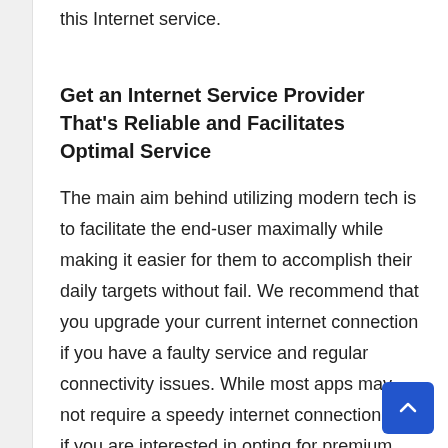this Internet service.
Get an Internet Service Provider That's Reliable and Facilitates Optimal Service
The main aim behind utilizing modern tech is to facilitate the end-user maximally while making it easier for them to accomplish their daily targets without fail. We recommend that you upgrade your current internet connection if you have a faulty service and regular connectivity issues. While most apps may not require a speedy internet connection but if you are interested in opting for premium plans and bundles on an app, then that would require a decent connection on your part. Upgrade your current